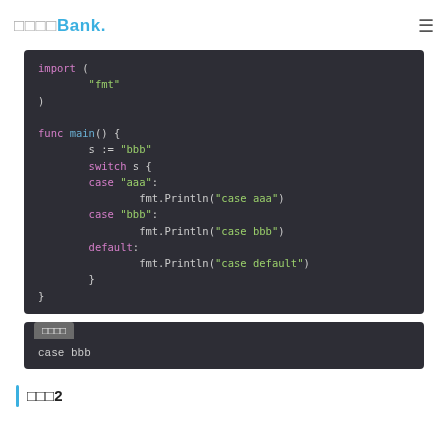□□□□Bank.
[Figure (screenshot): Code block showing Go language program with import fmt, func main with switch statement on variable s with cases aaa, bbb, and default]
[Figure (screenshot): Output block showing result: case bbb]
□□□2